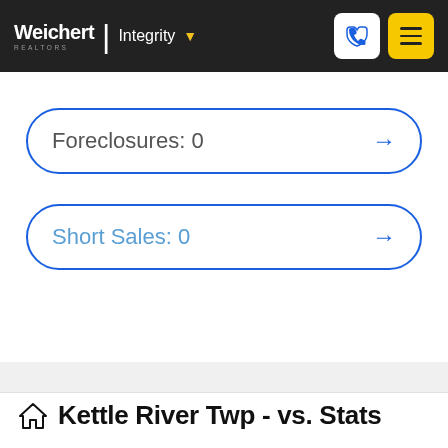Weichert | Integrity
Foreclosures: 0
Short Sales: 0
Kettle River Twp - vs. Stats